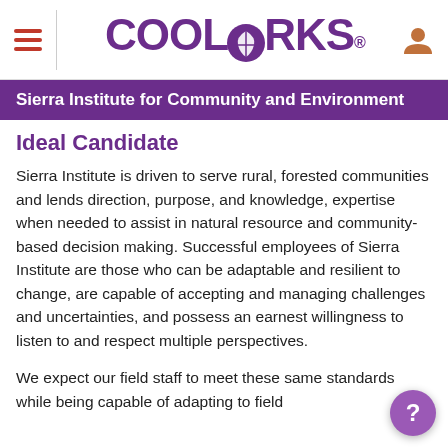CoolWorks – Sierra Institute for Community and Environment
Ideal Candidate
Sierra Institute is driven to serve rural, forested communities and lends direction, purpose, and knowledge, expertise when needed to assist in natural resource and community-based decision making. Successful employees of Sierra Institute are those who can be adaptable and resilient to change, are capable of accepting and managing challenges and uncertainties, and possess an earnest willingness to listen to and respect multiple perspectives.
We expect our field staff to meet these same standards while being capable of adapting to field